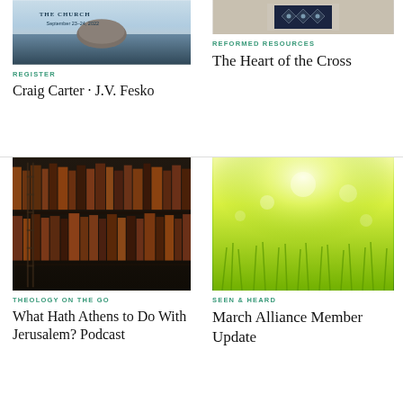[Figure (photo): Serene water scene with a smooth stone, text overlay: THE CHURCH September 23-24, 2022]
REGISTER
Craig Carter · J.V. Fesko
[Figure (photo): Dark decorative fabric or tile pattern with diamond shapes]
REFORMED RESOURCES
The Heart of the Cross
[Figure (photo): Library bookshelf filled with old leather-bound books]
THEOLOGY ON THE GO
What Hath Athens to Do With Jerusalem? Podcast
[Figure (photo): Bright green grass with sunlight bokeh effect]
SEEN & HEARD
March Alliance Member Update